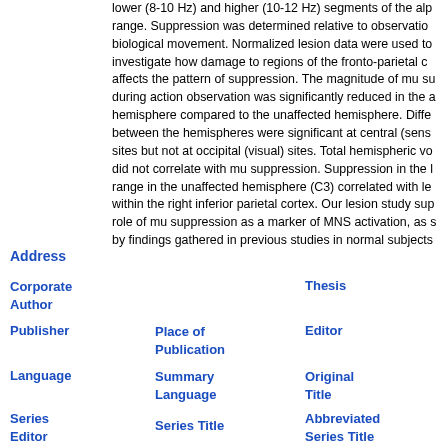lower (8-10 Hz) and higher (10-12 Hz) segments of the alpha range. Suppression was determined relative to observation of biological movement. Normalized lesion data were used to investigate how damage to regions of the fronto-parietal cortex affects the pattern of suppression. The magnitude of mu suppression during action observation was significantly reduced in the affected hemisphere compared to the unaffected hemisphere. Differences between the hemispheres were significant at central (sensorimotor) sites but not at occipital (visual) sites. Total hemispheric volume did not correlate with mu suppression. Suppression in the lower range in the unaffected hemisphere (C3) correlated with lesion within the right inferior parietal cortex. Our lesion study supports the role of mu suppression as a marker of MNS activation, as suggested by findings gathered in previous studies in normal subjects.
Address
Corporate Author
Thesis
Publisher
Place of Publication
Editor
Language
Summary Language
Original Title
Series Editor
Series Title
Abbreviated Series Title
Series Volume
Series Issue
Edition